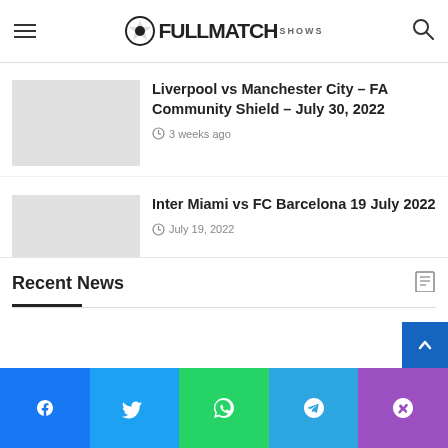FullMatchShows
Real Madrid vs Paris Saint-Germain &...
Liverpool vs Manchester City – FA Community Shield – July 30, 2022
3 weeks ago
Inter Miami vs FC Barcelona 19 July 2022
July 19, 2022
Recent News